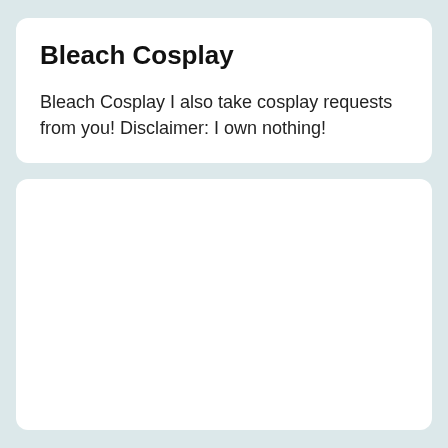Bleach Cosplay
Bleach Cosplay I also take cosplay requests from you! Disclaimer: I own nothing!